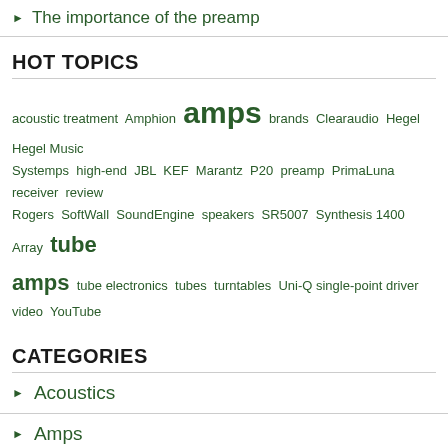The importance of the preamp
HOT TOPICS
acoustic treatment  Amphion  amps  brands  Clearaudio  Hegel  Hegel Music  Systemps  high-end  JBL  KEF  Marantz  P20  preamp  PrimaLuna  receiver  review  Rogers  SoftWall  SoundEngine  speakers  SR5007  Synthesis 1400 Array  tube amps  tube electronics  tubes  turntables  Uni-Q single-point driver  video  YouTube
CATEGORIES
Acoustics
Amps
Brands
Speakers
Uncategorized